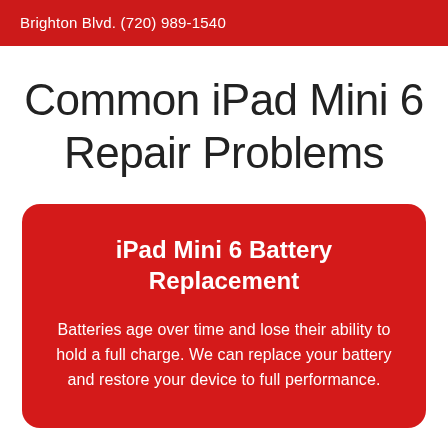Brighton Blvd.  (720) 989-1540
Common iPad Mini 6 Repair Problems
iPad Mini 6 Battery Replacement
Batteries age over time and lose their ability to hold a full charge. We can replace your battery and restore your device to full performance.